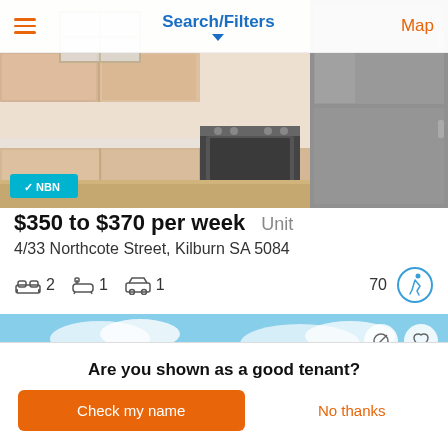Search/Filters | Map
[Figure (photo): Kitchen interior with light wood cabinets, stainless steel oven and refrigerator, and hardwood floor. NBN badge shown in lower left corner.]
$350 to $370 per week   Unit
4/33 Northcote Street, Kilburn SA 5084
2 bedrooms, 1 bathroom, 1 car space. Score: 70
[Figure (photo): Exterior photo of a house with blue sky background. Dismiss and favourites action buttons shown.]
Are you shown as a good tenant?
Check my name
No thanks